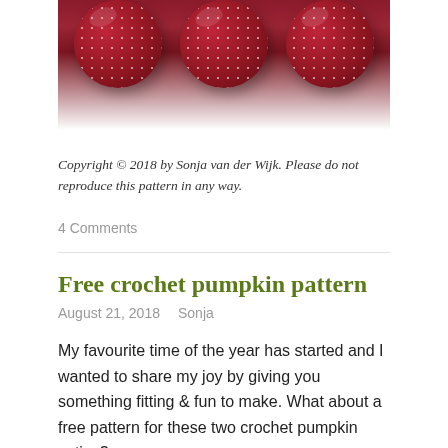[Figure (photo): Three dark red/crimson crocheted balls with white dot texture, photographed against a white background, cropped at the top of the page]
Copyright © 2018 by Sonja van der Wijk. Please do not reproduce this pattern in any way.
4 Comments
Free crochet pumpkin pattern
August 21, 2018   Sonja
My favourite time of the year has started and I wanted to share my joy by giving you something fitting & fun to make. What about a free pattern for these two crochet pumpkin cuties?